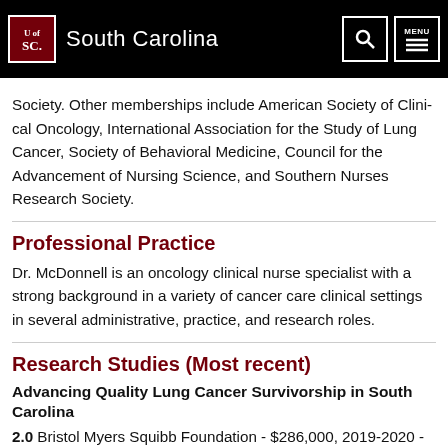University of South Carolina
Society. Other memberships include American Society of Clinical Oncology, International Association for the Study of Lung Cancer, Society of Behavioral Medicine, Council for the Advancement of Nursing Science, and Southern Nurses Research Society.
Professional Practice
Dr. McDonnell is an oncology clinical nurse specialist with a strong background in a variety of cancer care clinical settings in several administrative, practice, and research roles.
Research Studies (Most recent)
Advancing Quality Lung Cancer Survivorship in South Carolina
2.0  Bristol Myers Squibb Foundation - $286,000, 2019-2020 - C